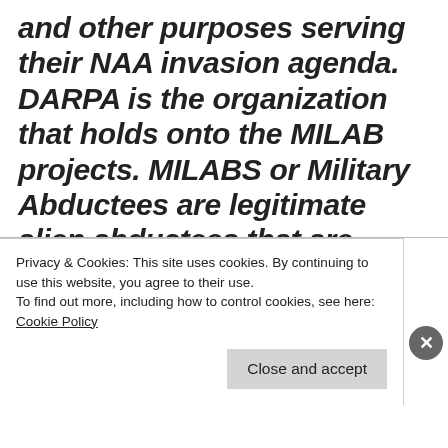and other purposes serving their NAA invasion agenda. DARPA is the organization that holds onto the MILAB projects. MILABS or Military Abductees are legitimate alien abductees that are kidnapped, trained and utilized as deep black operatives by elements of the military intelligence community for a
Privacy & Cookies: This site uses cookies. By continuing to use this website, you agree to their use.
To find out more, including how to control cookies, see here: Cookie Policy
Close and accept